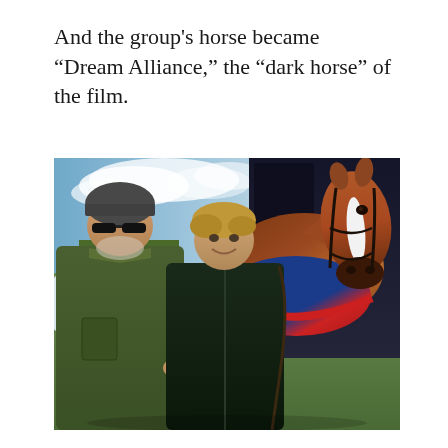And the group’s horse became “Dream Alliance,” the “dark horse” of the film.
[Figure (photo): Two people standing with a chestnut horse wearing a blue and red blanket. A man in a green jacket and grey beanie hat stands on the left, a woman in a dark jacket stands in the center holding the horse's bridle. The horse is chestnut with a white blaze. Background shows a barn/stable and green fields under a partly cloudy sky.]